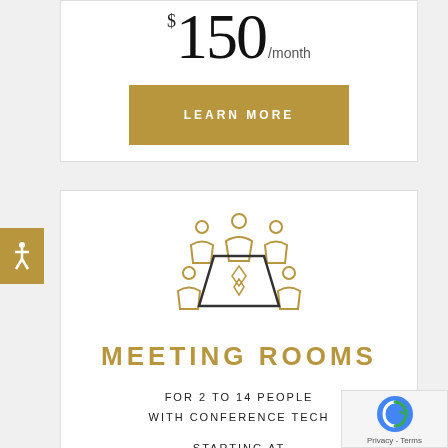$150/month
LEARN MORE
[Figure (illustration): Meeting room icon: a conference table with people seated around it, drawn in gold/amber outline style]
MEETING ROOMS
FOR 2 TO 14 PEOPLE
WITH CONFERENCE TECH
STARTING AT